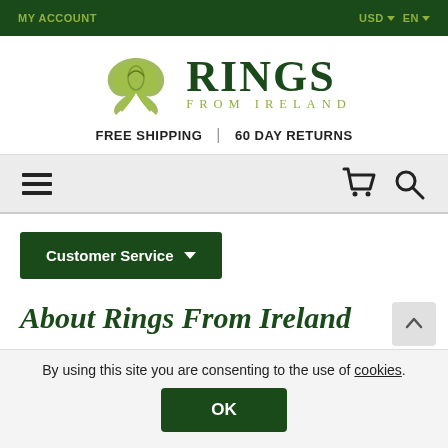MY ACCOUNT | USD EN
[Figure (logo): Rings From Ireland logo with Celtic knot / swan design and text 'RINGS FROM IRELAND']
FREE SHIPPING | 60 DAY RETURNS
[Figure (screenshot): Navigation toolbar with hamburger menu, shopping cart and search icons]
Customer Service
About Rings From Ireland
By using this site you are consenting to the use of cookies.
OK